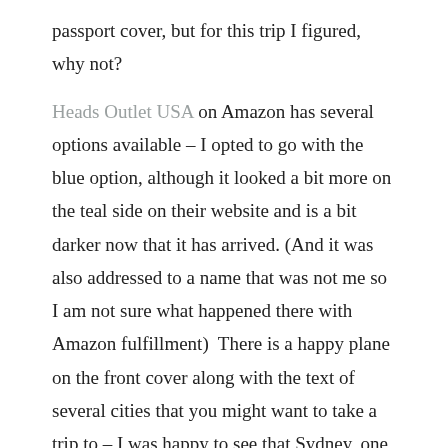passport cover, but for this trip I figured, why not?

Heads Outlet USA on Amazon has several options available – I opted to go with the blue option, although it looked a bit more on the teal side on their website and is a bit darker now that it has arrived. (And it was also addressed to a name that was not me so I am not sure what happened there with Amazon fulfillment)  There is a happy plane on the front cover along with the text of several cities that you might want to take a trip to – I was happy to see that Sydney, one of the stops